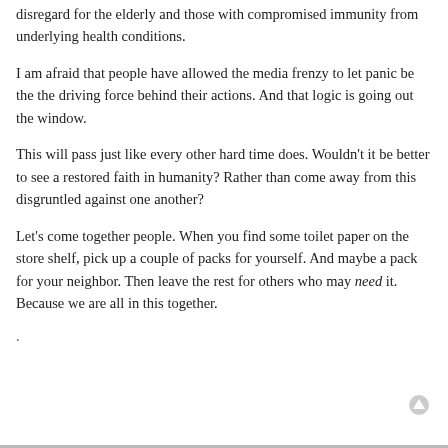disregard for the elderly and those with compromised immunity from underlying health conditions.
I am afraid that people have allowed the media frenzy to let panic be the the driving force behind their actions. And that logic is going out the window.
This will pass just like every other hard time does. Wouldn't it be better to see a restored faith in humanity? Rather than come away from this disgruntled against one another?
Let's come together people. When you find some toilet paper on the store shelf, pick up a couple of packs for yourself. And maybe a pack for your neighbor. Then leave the rest for others who may need it. Because we are all in this together.
.